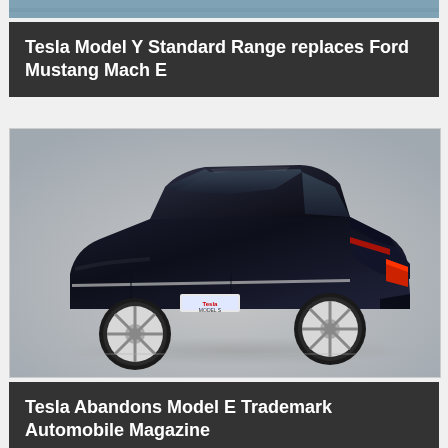[Figure (photo): Partial top edge of an image strip, appears to be a landscape or outdoor photo]
Tesla Model Y Standard Range replaces Ford Mustang Mach E
[Figure (photo): Dark navy blue Tesla Model S sedan photographed from the rear three-quarter angle on a grey background, showing the rear taillights, alloy wheels, and a license plate reading MODEL S]
Tesla Abandons Model E Trademark Automobile Magazine